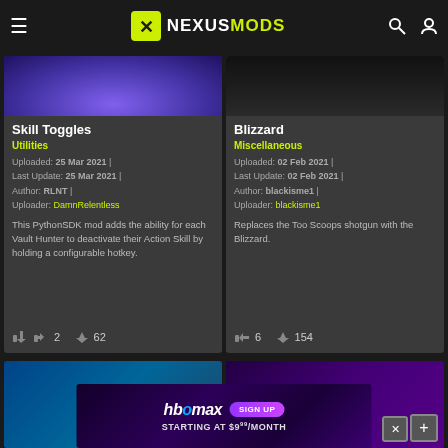NEXUSMODS
Skill Toggles
Utilities
Uploaded: 25 Mar 2021 | Last Update: 25 Mar 2021 | Author: RLNT | Uploader: DamnRelentless
This PythonSDK mod adds the ability for each Vault Hunter to deactivate their Action Skill by holding a configurable hotkey.
2 likes, 62 downloads
Blizzard
Miscellaneous
Uploaded: 02 Feb 2021 | Last Update: 02 Feb 2021 | Author: blackisme1 | Uploader: blackisme1
Replaces the Too Scoops shotgun with the Blizzard.
6 likes, 154 downloads
[Figure (screenshot): HBO Max advertisement banner reading 'SIGN UP STARTING AT $9.99/MONTH']